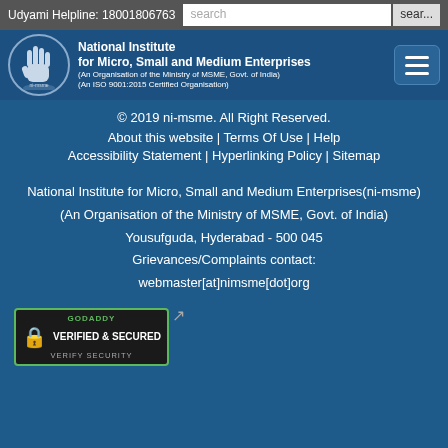Udyami Helpline: 18001806763
[Figure (logo): NI-MSME logo with hand gesture icon and organization name: National Institute for Micro, Small and Medium Enterprises (An Organisation of the Ministry of MSME, Govt. of India) (An ISO 9001:2015 Certified Organisation)]
© 2019 ni-msme. All Right Reserved.
About this website | Terms Of Use | Help
Accessibility Statement | Hyperlinking Policy | Sitemap
National Institute for Micro, Small and Medium Enterprises(ni-msme)
(An Organisation of the Ministry of MSME, Govt. of India)
Yousufguda, Hyderabad - 500 045
Grievances/Complaints contact:
webmaster[at]nimsme[dot]org
[Figure (logo): GoDaddy Verified & Secured badge with lock icon and 'VERIFY SECURITY' text]